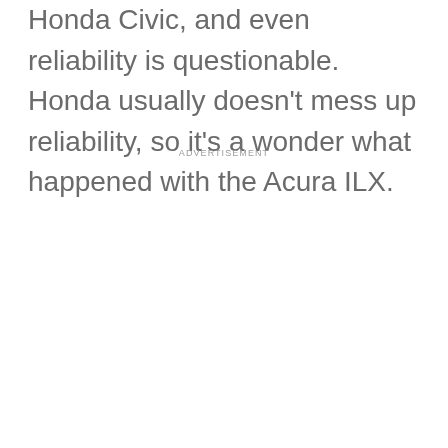Honda Civic, and even reliability is questionable. Honda usually doesn't mess up reliability, so it's a wonder what happened with the Acura ILX.
ADVERTISEMENT